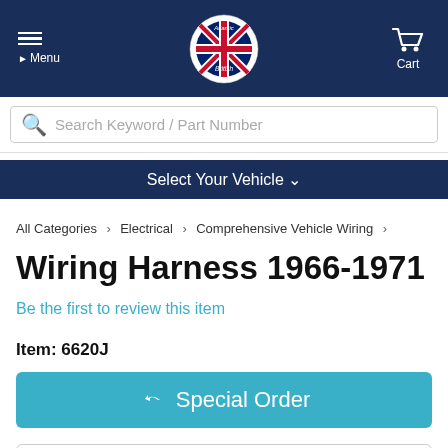Atlantic British — Menu | Cart
Search Keyword / Part Number
Select Your Vehicle
All Categories > Electrical > Comprehensive Vehicle Wiring
Wiring Harness 1966-1971
Be the first to review this item
Item: 6620J
Special Order
This item is a special order item and is not stocked in our warehouse. Click the "Special Order" button and complete and submit form. Once we receive your info, we'll confirm availability and